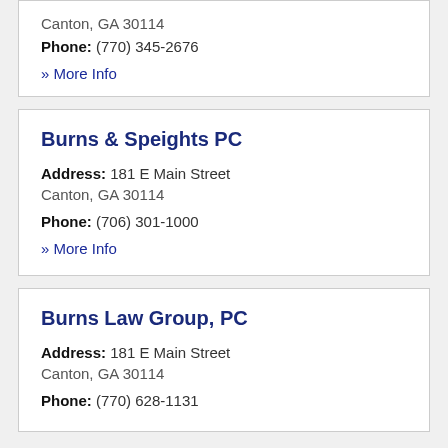Canton, GA 30114
Phone: (770) 345-2676
» More Info
Burns & Speights PC
Address: 181 E Main Street
Canton, GA 30114
Phone: (706) 301-1000
» More Info
Burns Law Group, PC
Address: 181 E Main Street
Canton, GA 30114
Phone: (770) 628-1131